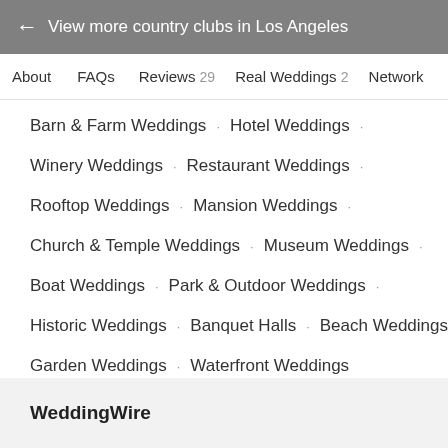← View more country clubs in Los Angeles
About   FAQs   Reviews 29   Real Weddings 2   Network
Barn & Farm Weddings · Hotel Weddings ·
Winery Weddings · Restaurant Weddings ·
Rooftop Weddings · Mansion Weddings ·
Church & Temple Weddings · Museum Weddings ·
Boat Weddings · Park & Outdoor Weddings ·
Historic Weddings · Banquet Halls · Beach Weddings ·
Garden Weddings · Waterfront Weddings
WeddingWire